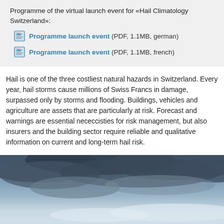Programme of the virtual launch event for «Hail Climatology Switzerland»:
Programme launch event (PDF, 1.1MB, german)
Programme launch event (PDF, 1.1MB, french)
Hail is one of the three costliest natural hazards in Switzerland. Every year, hail storms cause millions of Swiss Francs in damage, surpassed only by storms and flooding. Buildings, vehicles and agriculture are assets that are particularly at risk. Forecast and warnings are essential nececcisties for risk management, but also insurers and the building sector require reliable and qualitative information on current and long-term hail risk.
[Figure (photo): Storm cloud photograph showing dramatic sky with dark clouds and lighter areas near horizon]